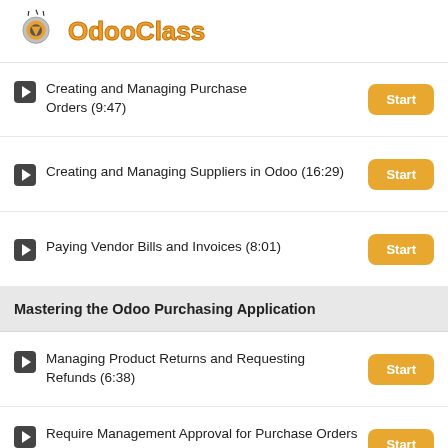[Figure (logo): OdooClass logo with eye/target icon and orange text]
Creating and Managing Purchase Orders (9:47)
Creating and Managing Suppliers in Odoo (16:29)
Paying Vendor Bills and Invoices (8:01)
Mastering the Odoo Purchasing Application
Managing Product Returns and Requesting Refunds (6:38)
Require Management Approval for Purchase Orders (6:39)
Configuring Purchase Warnings for Products and Vendors (9:02)